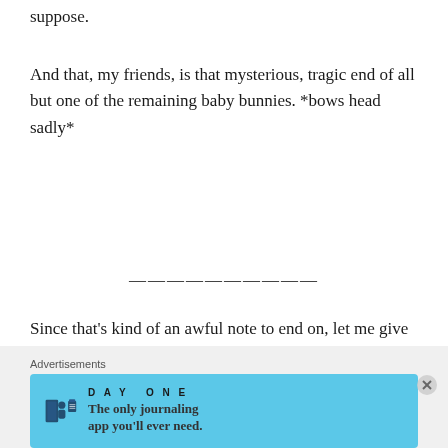suppose.
And that, my friends, is that mysterious, tragic end of all but one of the remaining baby bunnies. *bows head sadly*
--------------------
Since that’s kind of an awful note to end on, let me give you some good news. Carmen is keeping Lavender, the one bunny left! She’s getting so big and is SO cute and tame and sweet. Since she’s the only baby for us to handle now, she is extra well-loved and I think she’ll be a wonderful pet even when she grows up. And now, let
me end this post with a hilarious picture of...
Advertisements
[Figure (other): Day One journaling app advertisement banner with light blue background, showing app icons and text: 'The only journaling app you’ll ever need.']